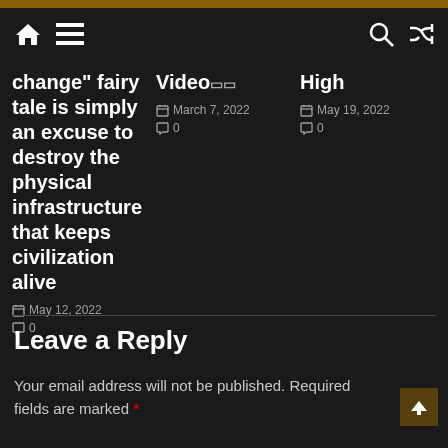Navigation bar with home, menu, search, and shuffle icons
change" fairy tale is simply an excuse to destroy the physical infrastructure that keeps civilization alive
May 12, 2022 · 0 comments
Video... March 7, 2022 · 0 comments
High May 19, 2022 · 0 comments
Leave a Reply
Your email address will not be published. Required fields are marked *